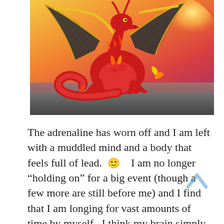[Figure (illustration): A red dragon with dark wings and golden horns, sitting against a warm sunset background of red, orange, and yellow. The dragon has a long curving tail and clawed feet.]
The adrenaline has worn off and I am left with a muddled mind and a body that feels full of lead. 🙂    I am no longer “holding on” for a big event (though a few more are still before me) and I find that I am longing for vast amounts of time by myself.  I think my brain simply can’t process the last few weeks.  It tries to make sense out of how I got from there, Russell still with us, to here, Russell not with us and it simply doesn’t register